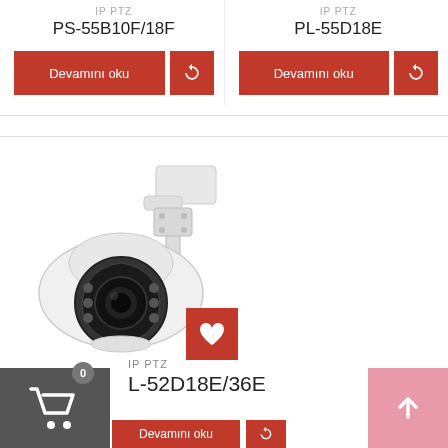IP PTZ
PS-55B10F/18F
Devamını oku
IP PTZ
PL-55D18E
Devamını oku
[Figure (photo): White PTZ security camera on wall mount bracket, dome shape with black lens]
IP PTZ
L-52D18E/36E
Devamını oku